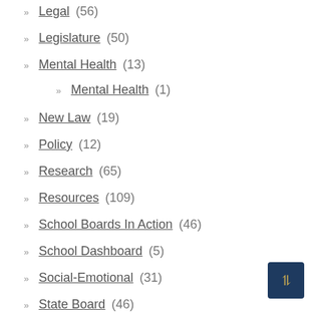Legal (56)
Legislature (50)
Mental Health (13)
Mental Health (1)
New Law (19)
Policy (12)
Research (65)
Resources (109)
School Boards In Action (46)
School Dashboard (5)
Social-Emotional (31)
State Board (46)
Systems Of Support (21)